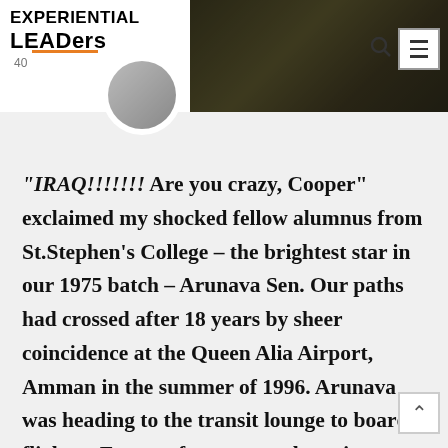EXPERIENTIAL LEADers 40
[Figure (photo): Dark background photo of outdoors/nature scene used as header banner, with a circular profile photo overlay at bottom-left of header.]
“IRAQ!!!!!!! Are you crazy, Cooper” exclaimed my shocked fellow alumnus from St.Stephen’s College – the brightest star in our 1975 batch – Arunava Sen. Our paths had crossed after 18 years by sheer coincidence at the Queen Alia Airport, Amman in the summer of 1996. Arunava was heading to the transit lounge to board a flight to Europe for a research project on Economics Game Theory and I was heading towards the immigration and exit